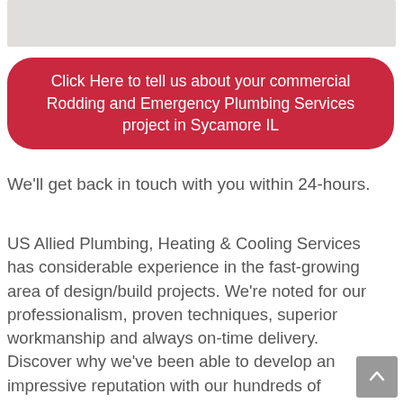[Figure (photo): Partial image of what appears to be a plumbing or interior scene, cropped at the top of the page]
Click Here to tell us about your commercial Rodding and Emergency Plumbing Services project in Sycamore IL
We'll get back in touch with you within 24-hours.
US Allied Plumbing, Heating & Cooling Services has considerable experience in the fast-growing area of design/build projects. We're noted for our professionalism, proven techniques, superior workmanship and always on-time delivery. Discover why we've been able to develop an impressive reputation with our hundreds of satisfied clients.